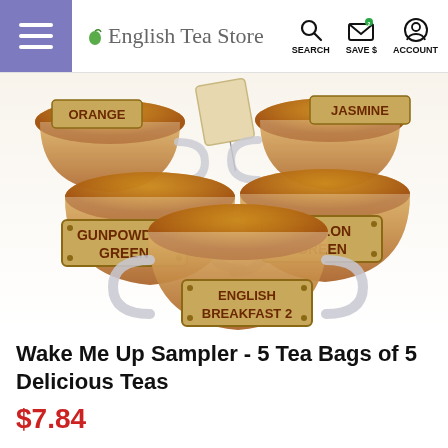English Tea Store — SEARCH SAVE $ ACCOUNT
[Figure (photo): Product photo of tea sampler: multiple glass cups of tea with labels reading ORANGE, JASMINE, GUNPOWDER GREEN, CEYLON GREEN, ENGLISH BREAKFAST 2, with tea bags]
Wake Me Up Sampler - 5 Tea Bags of 5 Delicious Teas
$7.84